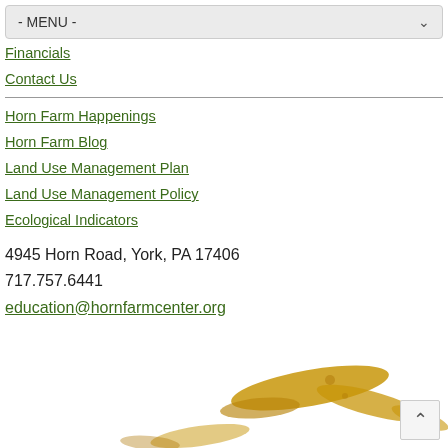- MENU -
Financials
Contact Us
Horn Farm Happenings
Horn Farm Blog
Land Use Management Plan
Land Use Management Policy
Ecological Indicators
4945 Horn Road, York, PA 17406
717.757.6441
education@hornfarmcenter.org
[Figure (photo): Partial view of a golden/ochre colored bird or animal form against a white background, bottom of page]